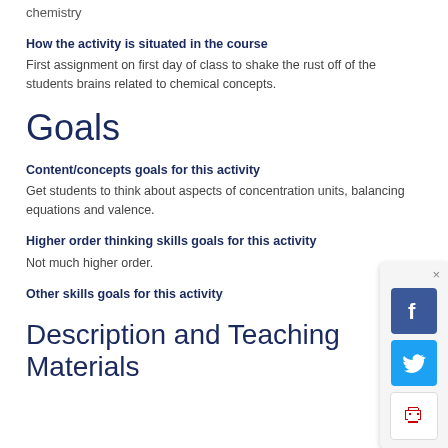chemistry
How the activity is situated in the course
First assignment on first day of class to shake the rust off of the students brains related to chemical concepts.
Goals
Content/concepts goals for this activity
Get students to think about aspects of concentration units, balancing equations and valence.
Higher order thinking skills goals for this activity
Not much higher order.
Other skills goals for this activity
Description and Teaching Materials